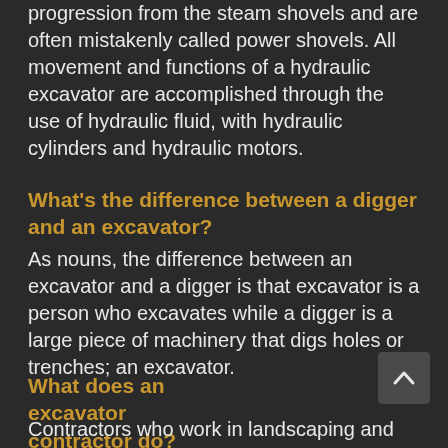progression from the steam shovels and are often mistakenly called power shovels. All movement and functions of a hydraulic excavator are accomplished through the use of hydraulic fluid, with hydraulic cylinders and hydraulic motors.
What's the difference between a digger and an excavator?
As nouns, the difference between an excavator and a digger is that excavator is a person who excavates while a digger is a large piece of machinery that digs holes or trenches; an excavator.
What does an excavator contractor do?
Contractors who work in landscaping and